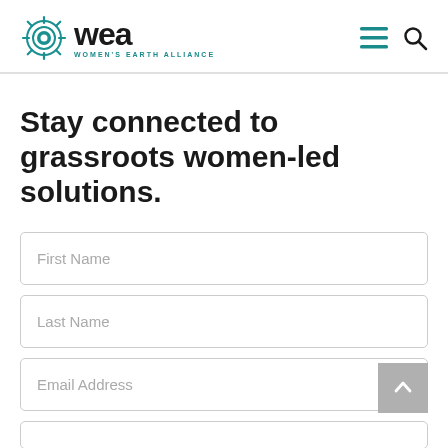WEA — Women's Earth Alliance
Stay connected to grassroots women-led solutions.
First Name
Last Name
Email Address